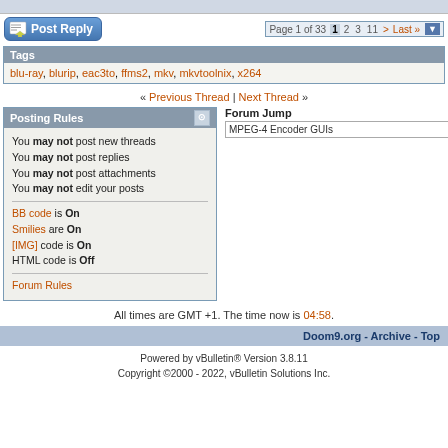Post Reply | Page 1 of 33 | 1 2 3 11 > Last »
Tags
blu-ray, blurip, eac3to, ffms2, mkv, mkvtoolnix, x264
« Previous Thread | Next Thread »
Posting Rules
You may not post new threads
You may not post replies
You may not post attachments
You may not edit your posts
BB code is On
Smilies are On
[IMG] code is On
HTML code is Off
Forum Rules
Forum Jump
MPEG-4 Encoder GUIs
All times are GMT +1. The time now is 04:58.
Doom9.org - Archive - Top
Powered by vBulletin® Version 3.8.11
Copyright ©2000 - 2022, vBulletin Solutions Inc.